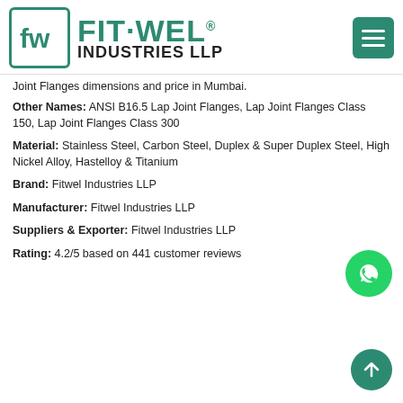[Figure (logo): Fit-Wel Industries LLP logo with green border box containing 'fw' monogram, and company name in teal/green and black]
Joint Flanges dimensions and price in Mumbai.
Other Names: ANSI B16.5 Lap Joint Flanges, Lap Joint Flanges Class 150, Lap Joint Flanges Class 300
Material: Stainless Steel, Carbon Steel, Duplex & Super Duplex Steel, High Nickel Alloy, Hastelloy & Titanium
Brand: Fitwel Industries LLP
Manufacturer: Fitwel Industries LLP
Suppliers & Exporter: Fitwel Industries LLP
Rating: 4.2/5 based on 441 customer reviews